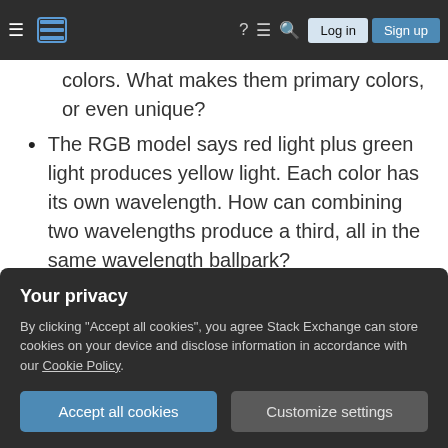Stack Exchange navigation bar with hamburger menu, logo, help, chat, search icons, Log in and Sign up buttons
colors. What makes them primary colors, or even unique?
The RGB model says red light plus green light produces yellow light. Each color has its own wavelength. How can combining two wavelengths produce a third, all in the same wavelength ballpark?
White light is a collection of all the wavelengths of visible light. Red, green, and blue light are just three wavelengths. How can just red, green, and blue create all the other
should behave similarly. Why does it describe
Your privacy
By clicking "Accept all cookies", you agree Stack Exchange can store cookies on your device and disclose information in accordance with our Cookie Policy.